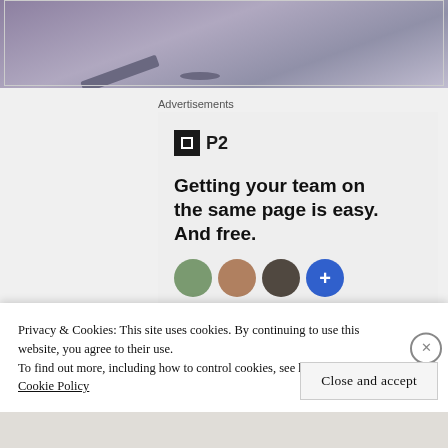[Figure (photo): Partial top portion of an outdoor photo showing stones or rubble on the ground with a muted purple-grey sky or surface background.]
Advertisements
[Figure (screenshot): Advertisement for P2 (a team collaboration tool). Shows the P2 logo (black square with white square icon) followed by bold text: 'Getting your team on the same page is easy. And free.' Below are four circular avatar photos/icons of people.]
Privacy & Cookies: This site uses cookies. By continuing to use this website, you agree to their use.
To find out more, including how to control cookies, see here:
Cookie Policy
Close and accept